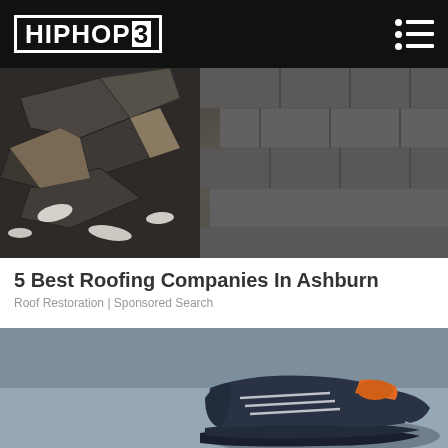HIPHOP3
[Figure (photo): Close-up photo of damaged roof shingles, some cracked and peeling away from the roof surface]
5 Best Roofing Companies In Ashburn
Roof Restoration | Sponsored Search
[Figure (photo): Photo of a sneaker/athletic shoe against a blue-grey sky background, with orange and dark grey/black colorway]